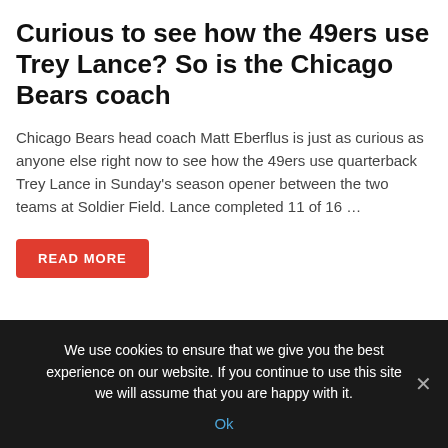Curious to see how the 49ers use Trey Lance? So is the Chicago Bears coach
Chicago Bears head coach Matt Eberflus is just as curious as anyone else right now to see how the 49ers use quarterback Trey Lance in Sunday’s season opener between the two teams at Soldier Field. Lance completed 11 of 16 …
READ MORE
Curious to see how the 49ers use Trey Lance? So is the Chicago Bears coach
We use cookies to ensure that we give you the best experience on our website. If you continue to use this site we will assume that you are happy with it.
Ok